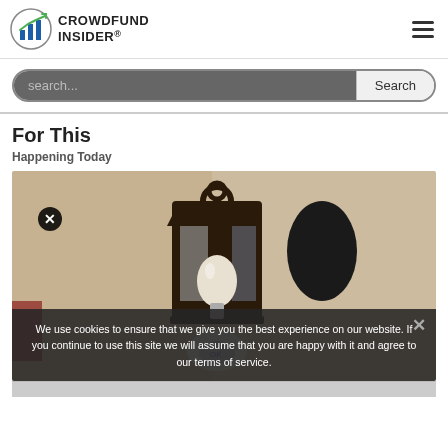CROWDFUND INSIDER
search...
For This
Happening Today
[Figure (photo): A wall-mounted outdoor lantern light fixture with a smart LED bulb and a security camera attachment visible at the bottom, against a textured stucco wall.]
We use cookies to ensure that we give you the best experience on our website. If you continue to use this site we will assume that you are happy with it and agree to our terms of service.